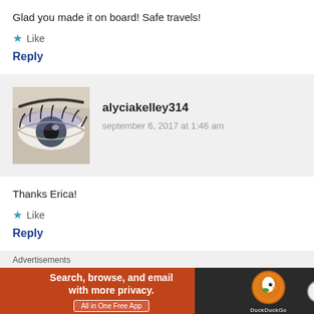Glad you made it on board! Safe travels!
Like
Reply
alyciakelley314
september 6, 2017 at 1:46 am
Thanks Erica!
Like
Reply
Advertisements
[Figure (screenshot): DuckDuckGo advertisement banner: orange left panel with text 'Search, browse, and email with more privacy. All in One Free App', dark right panel with DuckDuckGo duck logo]